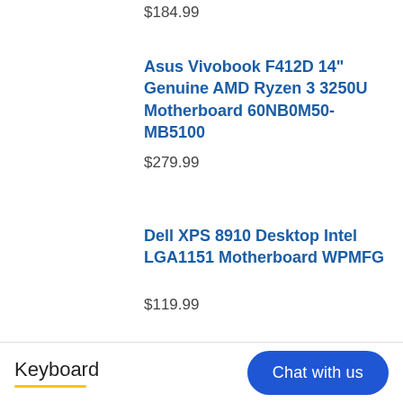$184.99
Asus Vivobook F412D 14" Genuine AMD Ryzen 3 3250U Motherboard 60NB0M50-MB5100
$279.99
Dell XPS 8910 Desktop Intel LGA1151 Motherboard WPMFG
$119.99
Keyboard
Chat with us